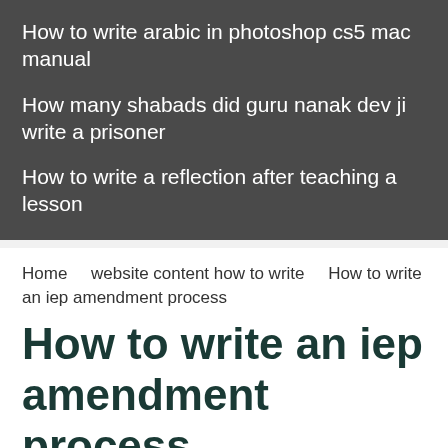How to write arabic in photoshop cs5 mac manual
How many shabads did guru nanak dev ji write a prisoner
How to write a reflection after teaching a lesson
Home   website content how to write   How to write an iep amendment process
How to write an iep amendment process
Can a district force parents of a LD child to sign off their SPED rights if they want to home school when the district does not even offer the appropriate placement of this child.
Teachers do not have the option to selectively implement